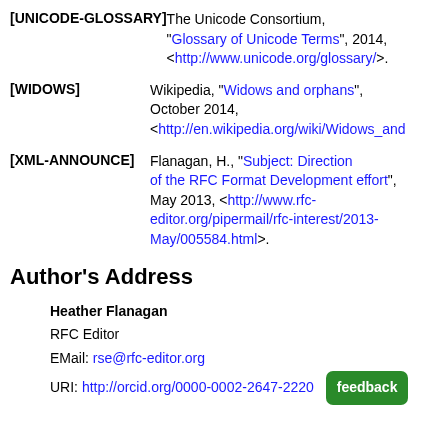[UNICODE-GLOSSARY] The Unicode Consortium, "Glossary of Unicode Terms", 2014, <http://www.unicode.org/glossary/>.
[WIDOWS] Wikipedia, "Widows and orphans", October 2014, <http://en.wikipedia.org/wiki/Widows_and...
[XML-ANNOUNCE] Flanagan, H., "Subject: Direction of the RFC Format Development effort", May 2013, <http://www.rfc-editor.org/pipermail/rfc-interest/2013-May/005584.html>.
Author's Address
Heather Flanagan
RFC Editor
EMail: rse@rfc-editor.org
URI: http://orcid.org/0000-0002-2647-2220